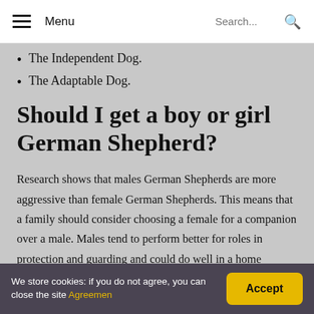Menu | Search...
The Independent Dog.
The Adaptable Dog.
Should I get a boy or girl German Shepherd?
Research shows that males German Shepherds are more aggressive than female German Shepherds. This means that a family should consider choosing a female for a companion over a male. Males tend to perform better for roles in protection and guarding and could do well in a home without children and the proper training.
We store cookies: if you do not agree, you can close the site Agreemen | Accept